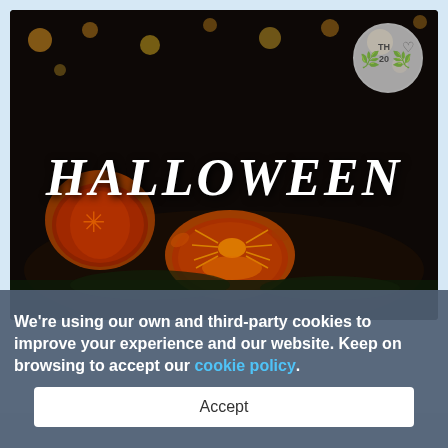[Figure (photo): Dark Halloween scene with glowing jack-o-lantern pumpkins, autumn leaves, string lights, and a spider on a pumpkin. Large text 'HALLOWEEN' in white spooky font. A circular silver badge/seal with heart icon in the top right corner.]
We're using our own and third-party cookies to improve your experience and our website. Keep on browsing to accept our cookie policy.
Accept